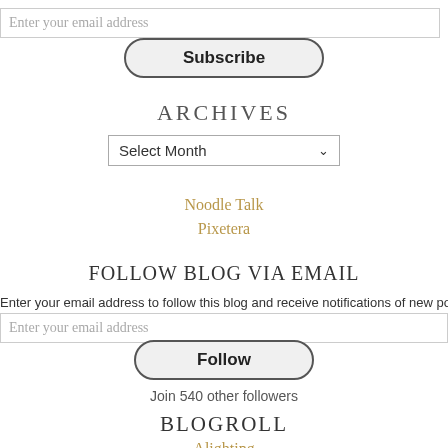Enter your email address
Subscribe
ARCHIVES
Select Month
Noodle Talk
Pixetera
FOLLOW BLOG VIA EMAIL
Enter your email address to follow this blog and receive notifications of new posts b
Enter your email address
Follow
Join 540 other followers
BLOGROLL
Alighting